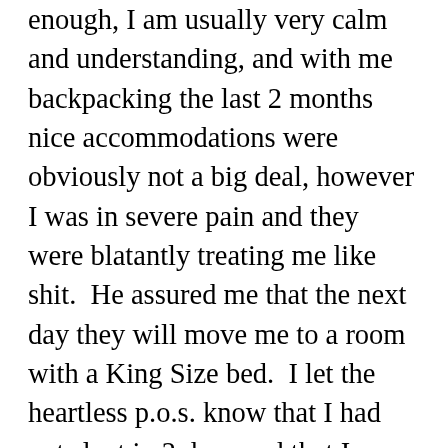enough, I am usually very calm and understanding, and with me backpacking the last 2 months nice accommodations were obviously not a big deal, however I was in severe pain and they were blatantly treating me like shit.  He assured me that the next day they will move me to a room with a King Size bed.  I let the heartless p.o.s. know that I had not slept in 2 days and that I understand I am to receive free breakfast.  Since it was a buffet that ends at 10 a.m. I had asked if he could just have somebody bring me an omelette to my room as I will most likely be sleeping, and it